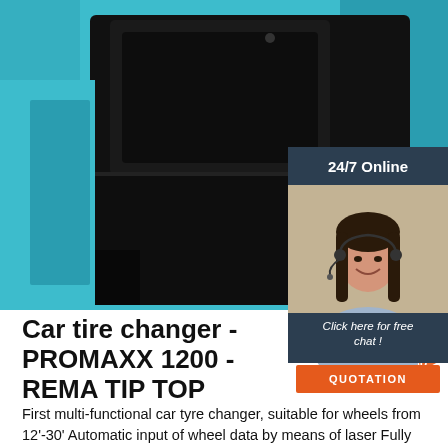[Figure (photo): Close-up photo of a black car tire changer machine component (tray/bead loosening unit) against a teal/turquoise background]
[Figure (infographic): 24/7 Online chat widget with a woman wearing a headset, dark navy background, orange QUOTATION button, and 'Click here for free chat!' call to action]
Car tire changer - PROMAXX 1200 - REMA TIP TOP
First multi-functional car tyre changer, suitable for wheels from 12'-30' Automatic input of wheel data by means of laser Fully automatic, multi-functional roller bead loosening unit Patented leverless mounting head, permits working with or without mounting lever Parallel-operation fitting arm Patented SMART LOCK central clamping system Electric